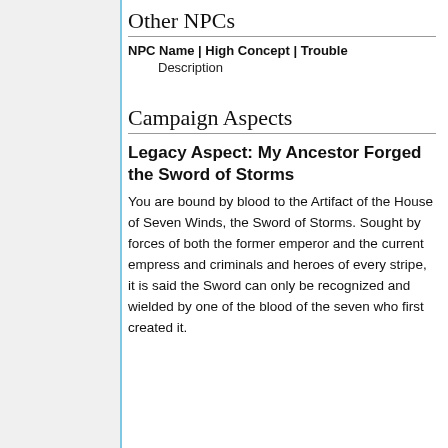Other NPCs
NPC Name | High Concept | Trouble
Description
Campaign Aspects
Legacy Aspect: My Ancestor Forged the Sword of Storms
You are bound by blood to the Artifact of the House of Seven Winds, the Sword of Storms. Sought by forces of both the former emperor and the current empress and criminals and heroes of every stripe, it is said the Sword can only be recognized and wielded by one of the blood of the seven who first created it.